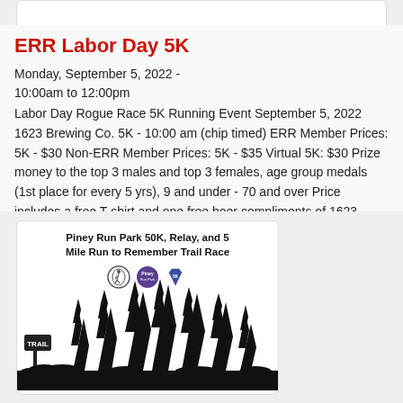[Figure (other): Partial top of a card with a logo/image cut off at the top of the page]
ERR Labor Day 5K
Monday, September 5, 2022 -
10:00am to 12:00pm
Labor Day Rogue Race 5K Running Event September 5, 2022 1623 Brewing Co. 5K - 10:00 am (chip timed) ERR Member Prices: 5K - $30 Non-ERR Member Prices: 5K - $35 Virtual 5K: $30 Prize money to the top 3 males and top 3 females, age group medals (1st place for every 5 yrs), 9 and under - 70 and over Price includes a free T-shirt and one free beer compliments of 1623 Brewing Co. for participants 21...
[Figure (illustration): Card image for Piney Run Park 50K, Relay, and 5 Mile Run to Remember Trail Race, showing logos and a silhouette of pine trees with a trail sign]